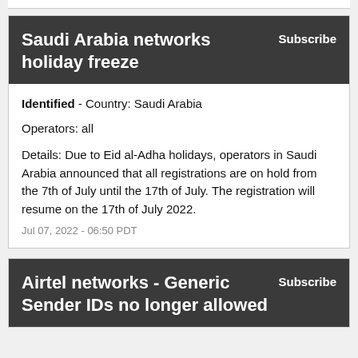Saudi Arabia networks holiday freeze
Subscribe
Identified - Country: Saudi Arabia
Operators: all
Details: Due to Eid al-Adha holidays, operators in Saudi Arabia announced that all registrations are on hold from the 7th of July until the 17th of July. The registration will resume on the 17th of July 2022.
Jul 07, 2022 - 06:50 PDT
Airtel networks - Generic Sender IDs no longer allowed
Subscribe